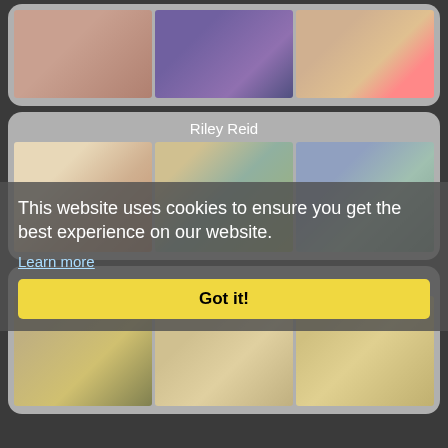[Figure (photo): Card with three photos: close-up of legs/feet, woman sitting on train with purple seats, woman in white outfit]
Riley Reid
[Figure (photo): Card with three photos under Riley Reid heading: feet with red nail polish, woman in teal top indoors, woman in teal shirt smiling]
This website uses cookies to ensure you get the best experience on our website.
Learn more
Eva Lovia
[Figure (photo): Card with three photos under Eva Lovia: woman in gym wear, woman in dark top, woman in athletic wear]
Got it!